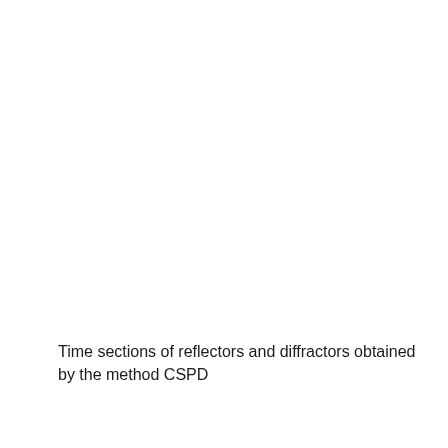Time sections of reflectors and diffractors obtained by the method CSPD